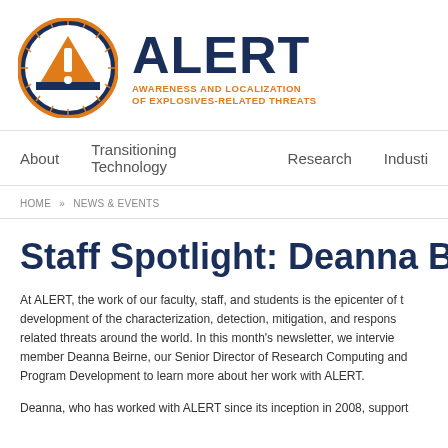[Figure (logo): ALERT logo: orange circle with white triangle and exclamation mark, with 'ALERT' in large dark blue text and subtitle 'AWARENESS AND LOCALIZATION OF EXPLOSIVES-RELATED THREATS' in orange]
About   Transitioning Technology   Research   Indust
HOME » NEWS & EVENTS
Staff Spotlight: Deanna Bei
At ALERT, the work of our faculty, staff, and students is the epicenter of t development of the characterization, detection, mitigation, and respons related threats around the world. In this month's newsletter, we intervie member Deanna Beirne, our Senior Director of Research Computing and Program Development to learn more about her work with ALERT.
Deanna, who has worked with ALERT since its inception in 2008, support